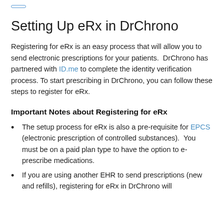[Figure (other): A small rectangular button outline with rounded corners containing navigation text]
Setting Up eRx in DrChrono
Registering for eRx is an easy process that will allow you to send electronic prescriptions for your patients.  DrChrono has partnered with ID.me to complete the identity verification process. To start prescribing in DrChrono, you can follow these steps to register for eRx.
Important Notes about Registering for eRx
The setup process for eRx is also a pre-requisite for EPCS (electronic prescription of controlled substances).  You must be on a paid plan type to have the option to e-prescribe medications.
If you are using another EHR to send prescriptions (new and refills), registering for eRx in DrChrono will